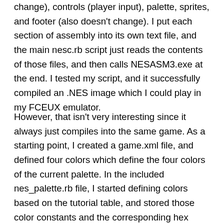change), controls (player input), palette, sprites, and footer (also doesn't change). I put each section of assembly into its own text file, and the main nesc.rb script just reads the contents of those files, and then calls NESASM3.exe at the end. I tested my script, and it successfully compiled an .NES image which I could play in my FCEUX emulator.
However, that isn't very interesting since it always just compiles into the same game. As a starting point, I created a game.xml file, and defined four colors which define the four colors of the current palette. In the included nes_palette.rb file, I started defining colors based on the tutorial table, and stored those color constants and the corresponding hex values into a Hash. Then, in another script which reads the game.xml file using REXML and XPath, I stored the user's defined palette colors in array. Then the palette code just looks up those values in the Hash to get the correct hex values to write palette data